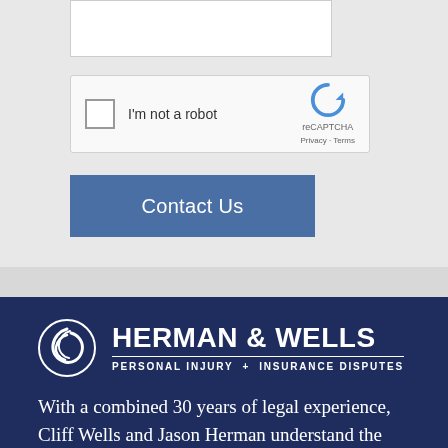[Figure (screenshot): reCAPTCHA widget with checkbox labeled 'I'm not a robot' and reCAPTCHA logo with Privacy and Terms links]
I'm not a robot
reCAPTCHA
Privacy · Terms
Contact Us
[Figure (logo): Herman & Wells law firm logo with circular swirl icon, firm name, and tagline 'Personal Injury + Insurance Disputes']
With a combined 30 years of legal experience, Cliff Wells and Jason Herman understand the kind of stress people are in when they've suffered a loss or injury and